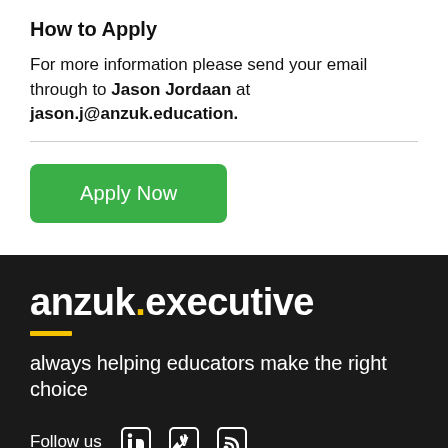How to Apply
For more information please send your email through to Jason Jordaan at jason.j@anzuk.education.
[Figure (other): Green 'Apply Now' button]
[Figure (logo): anzuk.executive logo with gold underline bar and tagline 'always helping educators make the right choice', followed by 'Follow us' with LinkedIn, Vimeo, and RSS social icons]